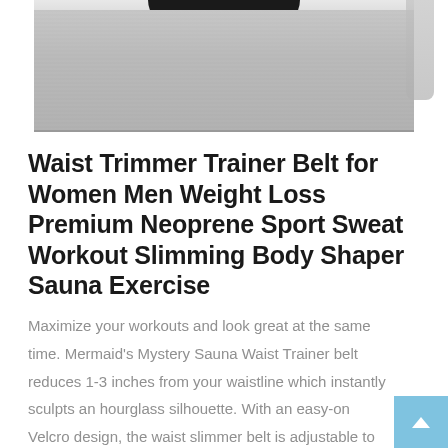[Figure (photo): Partial view of a person wearing a grey waist trimmer/body shaper belt with a black top, cropped to show torso area]
Waist Trimmer Trainer Belt for Women Men Weight Loss Premium Neoprene Sport Sweat Workout Slimming Body Shaper Sauna Exercise
Maximize your workouts and look great at the same time. Mermaid's Mystery Sauna Waist Trainer belt reduces 1-3 inches from your waistline which instantly sculpts an hourglass silhouette. With an easy-on Velcro design, the waist slimmer belt is adjustable to ensure a perfect fit anytime. Thanks to hot thermo neoprene fabric, you will sweat more like sauna in your core midsection with less effort, making it great for weight loss, muscle toning,